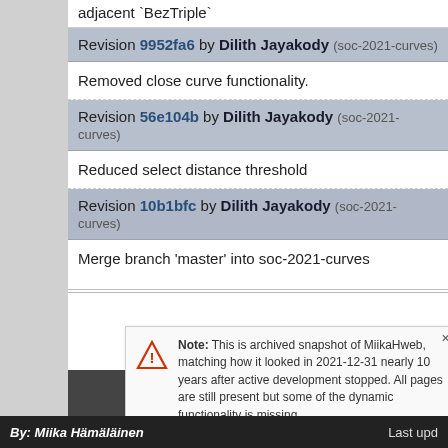adjacent `BezTriple`
Revision 9952fa6 by Dilith Jayakody (soc-2021-curves)
Removed close curve functionality.
Revision 56e104b by Dilith Jayakody (soc-2021-curves)
Reduced select distance threshold
Revision 10b1bfc by Dilith Jayakody (soc-2021-curves)
Merge branch 'master' into soc-2021-curves
Note: This is archived snapshot of MiikaHweb, matching how it looked in 2021-12-31 nearly 10 years after active development stopped. All pages are still present but some of the dynamic functionality is missing.
By: Miika Hämäläinen   Last upd